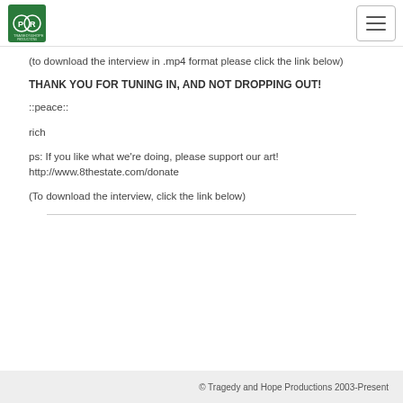Tragedy and Hope Productions logo and navigation
(to download the interview in .mp4 format please click the link below)
THANK YOU FOR TUNING IN, AND NOT DROPPING OUT!
::peace::
rich
ps: If you like what we're doing, please support our art! http://www.8thestate.com/donate
(To download the interview, click the link below)
© Tragedy and Hope Productions 2003-Present